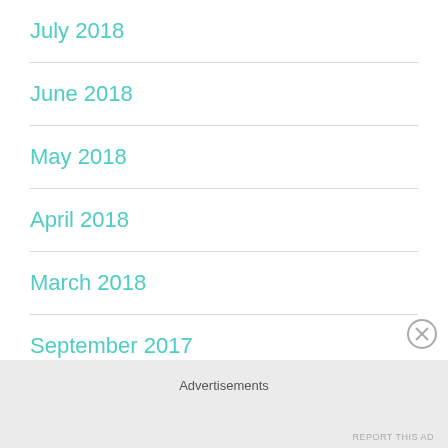July 2018
June 2018
May 2018
April 2018
March 2018
September 2017
June 2017
Advertisements
REPORT THIS AD